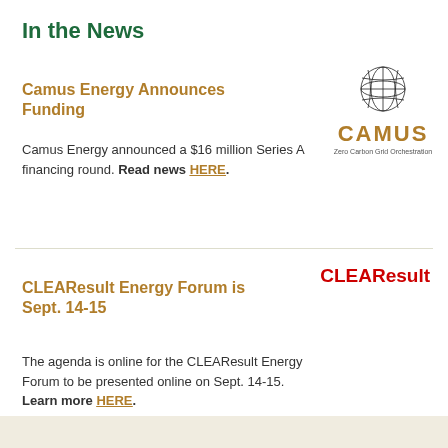In the News
Camus Energy Announces Funding
Camus Energy announced a $16 million Series A financing round. Read news HERE.
[Figure (logo): Camus Energy logo: stylized globe/network icon above bold text CAMUS in orange-brown, tagline Zero Carbon Grid Orchestration]
[Figure (logo): CLEARResult logo: bold red text CLEAResult]
CLEAResult Energy Forum is Sept. 14-15
The agenda is online for the CLEAResult Energy Forum to be presented online on Sept. 14-15. Learn more HERE.